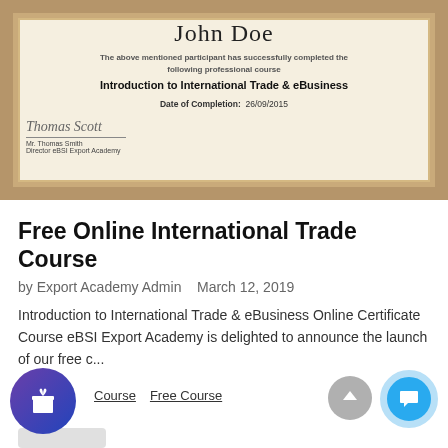[Figure (photo): Certificate image showing 'John Doe' as recipient, course 'Introduction to International Trade & eBusiness', date of completion 26/09/2015, signed by Mr. Thomas Smith, Director eBSI Export Academy. Certificate has a decorative beige/tan wavy border.]
Free Online International Trade Course
by Export Academy Admin   March 12, 2019
Introduction to International Trade & eBusiness Online Certificate Course eBSI Export Academy is delighted to announce the launch of our free c...
Course   Free Course